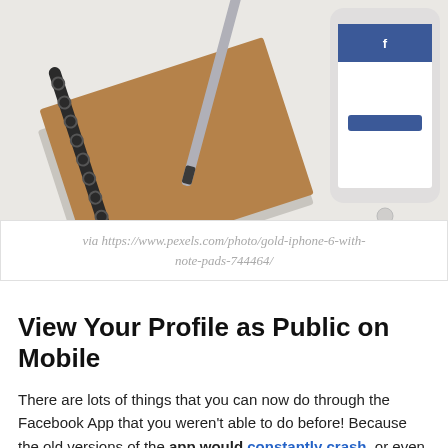[Figure (photo): Top-down view of a smartphone showing Facebook app login screen, next to a spiral notebook and a pen, on a light gray surface.]
via https://www.pexels.com/photo/gold-iphone-6-with-note-pads-744464/
View Your Profile as Public on Mobile
There are lots of things that you can now do through the Facebook App that you weren't able to do before! Because the old versions of the app would constantly crash, or even log out without your permission, it's nice that you can do things like view your profile as public!